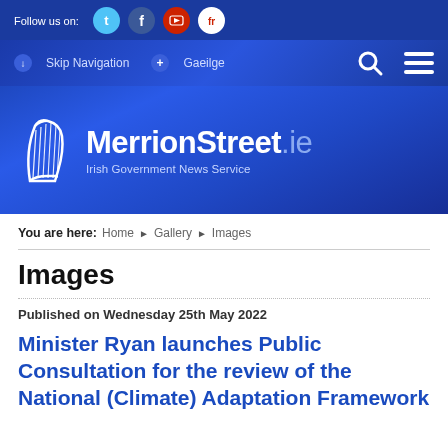Follow us on: [Twitter] [Facebook] [YouTube] [fr]
Skip Navigation  Gaeilge [Search] [Menu]
[Figure (logo): MerrionStreet.ie Irish Government News Service logo with Irish harp icon on blue background]
You are here: Home ▶ Gallery ▶ Images
Images
Published on Wednesday 25th May 2022
Minister Ryan launches Public Consultation for the review of the National (Climate) Adaptation Framework